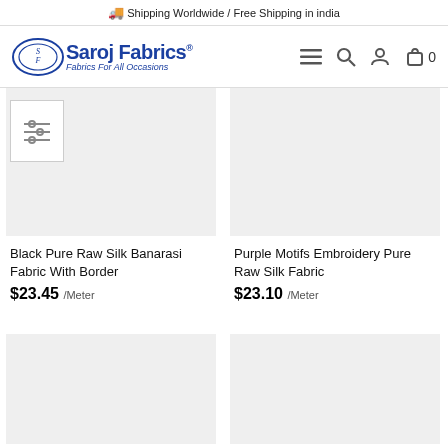🚚 Shipping Worldwide / Free Shipping in india
[Figure (logo): Saroj Fabrics logo with oval emblem, brand name in blue, tagline 'Fabrics For All Occasions']
[Figure (screenshot): Product image placeholder (light grey) for Black Pure Raw Silk Banarasi Fabric With Border]
Black Pure Raw Silk Banarasi Fabric With Border
$23.45 /Meter
[Figure (screenshot): Product image placeholder (light grey) for Purple Motifs Embroidery Pure Raw Silk Fabric]
Purple Motifs Embroidery Pure Raw Silk Fabric
$23.10 /Meter
[Figure (screenshot): Product image placeholder (light grey) — bottom left product]
[Figure (screenshot): Product image placeholder (light grey) — bottom right product]